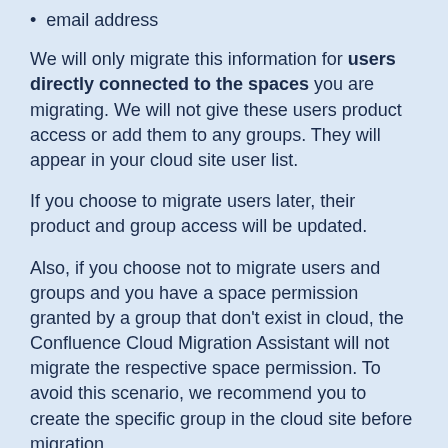email address
We will only migrate this information for users directly connected to the spaces you are migrating. We will not give these users product access or add them to any groups. They will appear in your cloud site user list.
If you choose to migrate users later, their product and group access will be updated.
Also, if you choose not to migrate users and groups and you have a space permission granted by a group that don't exist in cloud, the Confluence Cloud Migration Assistant will not migrate the respective space permission. To avoid this scenario, we recommend you to create the specific group in the cloud site before migration.